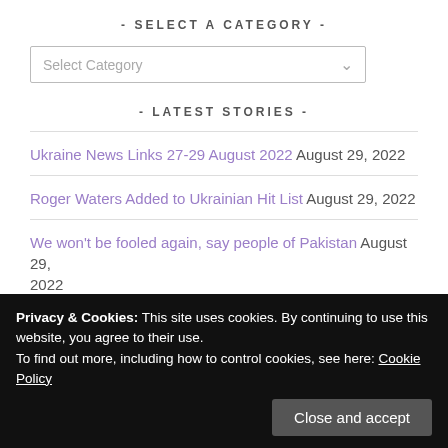- SELECT A CATEGORY -
Select Category
- LATEST STORIES -
Ukraine News Links 27-29 August 2022 August 29, 2022
Roger Waters Added to Ukrainian Hit List August 29, 2022
We won't be fooled again, say people of Pakistan August 29, 2022
Privacy & Cookies: This site uses cookies. By continuing to use this website, you agree to their use.
To find out more, including how to control cookies, see here: Cookie Policy
Ground beneath Zelensky's feet is shifting August 29, 2022